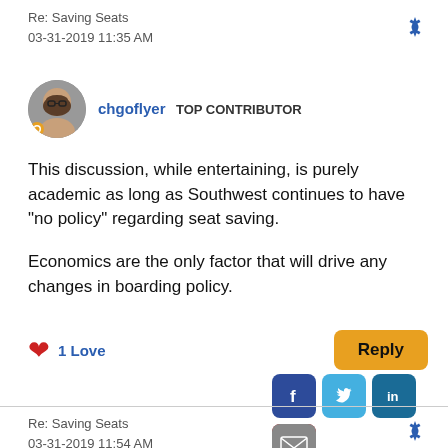Re: Saving Seats
03-31-2019 11:35 AM
chgoflyer   TOP CONTRIBUTOR
This discussion, while entertaining, is purely academic as long as Southwest continues to have "no policy" regarding seat saving.

Economics are the only factor that will drive any changes in boarding policy.
1 Love
Re: Saving Seats
03-31-2019 11:54 AM